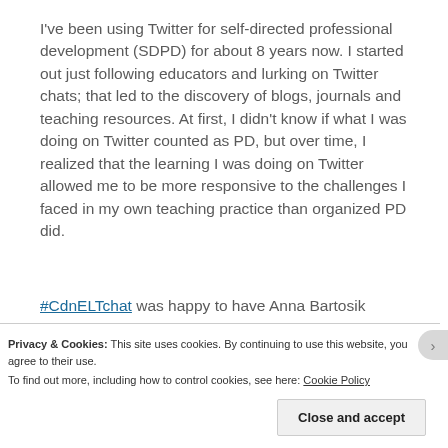I've been using Twitter for self-directed professional development (SDPD) for about 8 years now. I started out just following educators and lurking on Twitter chats; that led to the discovery of blogs, journals and teaching resources. At first, I didn't know if what I was doing on Twitter counted as PD, but over time, I realized that the learning I was doing on Twitter allowed me to be more responsive to the challenges I faced in my own teaching practice than organized PD did.
#CdnELTchat was happy to have Anna Bartosik (@ambartosik) share her expertise on Self Directed...
Privacy & Cookies: This site uses cookies. By continuing to use this website, you agree to their use. To find out more, including how to control cookies, see here: Cookie Policy